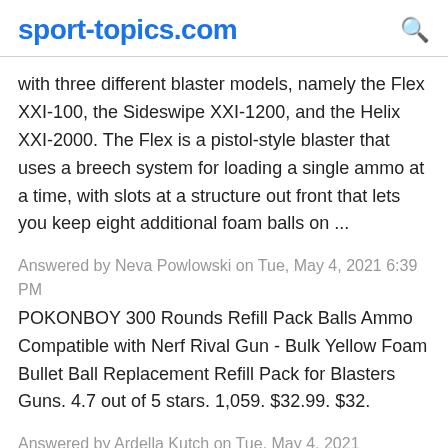sport-topics.com
with three different blaster models, namely the Flex XXI-100, the Sideswipe XXI-1200, and the Helix XXI-2000. The Flex is a pistol-style blaster that uses a breech system for loading a single ammo at a time, with slots at a structure out front that lets you keep eight additional foam balls on ...
Answered by Neva Powlowski on Tue, May 4, 2021 6:39 PM
POKONBOY 300 Rounds Refill Pack Balls Ammo Compatible with Nerf Rival Gun - Bulk Yellow Foam Bullet Ball Replacement Refill Pack for Blasters Guns. 4.7 out of 5 stars. 1,059. $32.99. $32.
Answered by Ardella Kutch on Tue, May 4, 2021